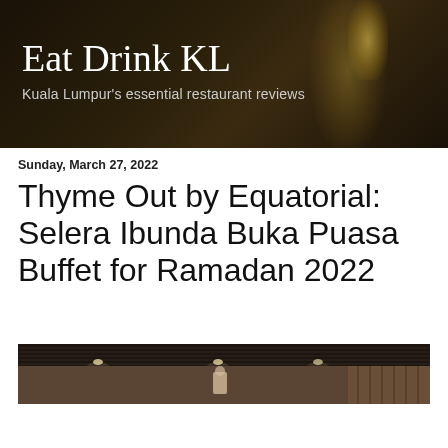Eat Drink KL
Kuala Lumpur's essential restaurant reviews
Sunday, March 27, 2022
Thyme Out by Equatorial: Selera Ibunda Buka Puasa Buffet for Ramadan 2022
[Figure (photo): Interior of Thyme Out restaurant at Equatorial hotel, showing ceiling, recessed lighting, and a figure in the dining area with warm wood-tone walls]